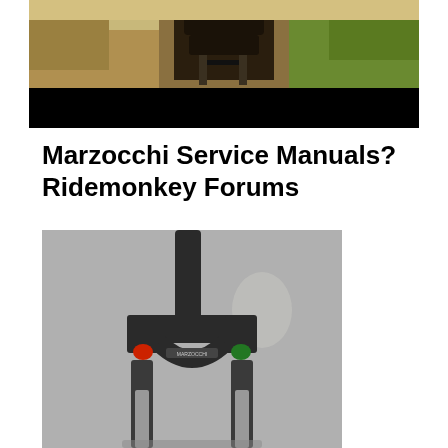[Figure (photo): Mountain bike riding on a dirt trail with trees in background; lower portion blacked out]
Marzocchi Service Manuals? Ridemonkey Forums
[Figure (photo): Marzocchi mountain bike suspension fork standing upright against a gray wall, showing the steerer tube, crown, lower legs with red and green adjusters]